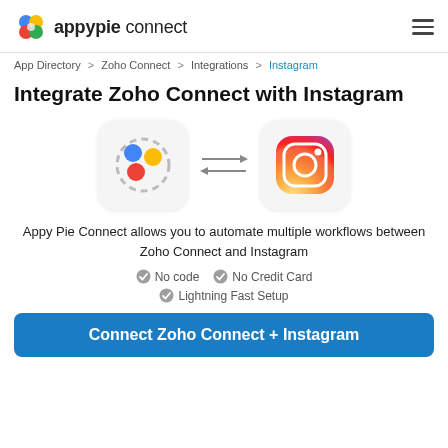appypie connect
App Directory > Zoho Connect > Integrations > Instagram
Integrate Zoho Connect with Instagram
[Figure (illustration): Zoho Connect logo icon and Instagram logo icon with bidirectional arrows between them]
Appy Pie Connect allows you to automate multiple workflows between Zoho Connect and Instagram
No code
No Credit Card
Lightning Fast Setup
Connect Zoho Connect + Instagram